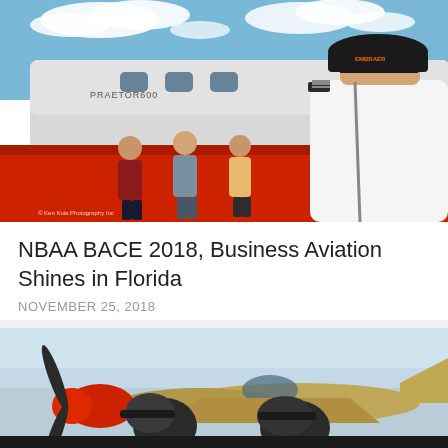[Figure (photo): A pilot in white uniform shirt with epaulettes and black cap photographs three women posing in front of a Praetor 600 business jet on a red carpet at an airshow. Blue sky with clouds in background.]
NBAA BACE 2018, Business Aviation Shines in Florida
NOVEMBER 25, 2018
[Figure (photo): Two people wearing black caps standing near a vintage propeller aircraft with a distinctive red nose, photographed outdoors under clear sky.]